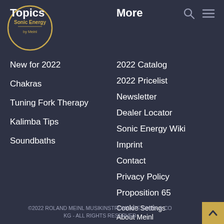[Figure (logo): Sonic Energy circular logo with gold border, 'Topics' heading text overlapping top-left, and 'Sonic Energy' subtitle inside]
Topics
More
New for 2022
Chakras
Tuning Fork Therapy
Kalimba Tips
Soundbaths
2022 Catalog
2022 Pricelist
Newsletter
Dealer Locator
Sonic Energy Wiki
Imprint
Contact
Privacy Policy
Proposition 65
Cookie Settings
About Meinl
©2022 ROLAND MEINL MUSIKINSTRUMENTE GMBH & CO KG - ALL RIGHTS RESERVED